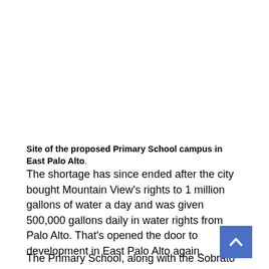Site of the proposed Primary School campus in East Palo Alto.
The shortage has since ended after the city bought Mountain View's rights to 1 million gallons of water a day and was given 500,000 gallons daily in water rights from Palo Alto. That's opened the door to development in East Palo Alto again.
The Primary School, along with the Sobrato Organization and the developer...